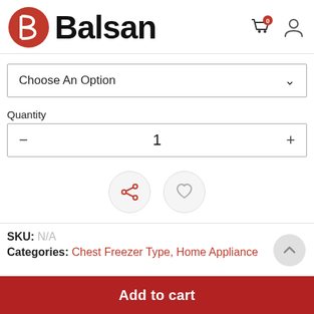[Figure (logo): Balsan logo: red circle with white B icon and 'Balsan' bold text beside it, with shopping cart and user icons top right]
Choose An Option
Quantity
1
[Figure (other): Share icon button (red share symbol on grey circle) and heart/wishlist icon button (grey heart on grey circle)]
SKU: N/A
Categories: Chest Freezer Type, Home Appliance
Add to cart